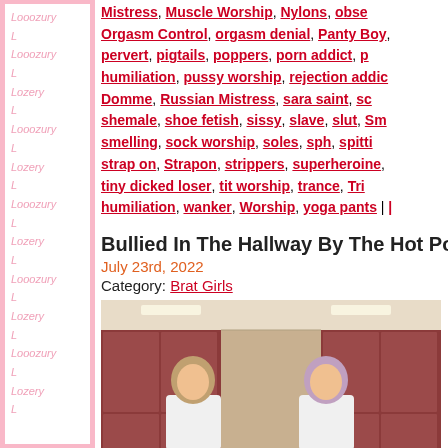[Figure (other): Watermark sidebar with repeating 'Looozury' and 'Lozery' text on pink and white background]
Mistress, Muscle Worship, Nylons, Obsession, Orgasm Control, orgasm denial, Panty Boy, pervert, pigtails, poppers, porn addict, public humiliation, pussy worship, rejection addict, Russian Domme, Russian Mistress, sara saint, schoolgirl, shemale, shoe fetish, sissy, slave, slut, Smelling, smelling, sock worship, soles, sph, spitting, strap on, Strapon, strippers, superheroine, tiny dicked loser, tit worship, trance, Tribbing, humiliation, wanker, Worship, yoga pants | ...
Bullied In The Hallway By The Hot Pop...
July 23rd, 2022
Category: Brat Girls
[Figure (photo): Two young women dressed in white crop tops and red skirts/plaid skirts posing in a school hallway with lockers]